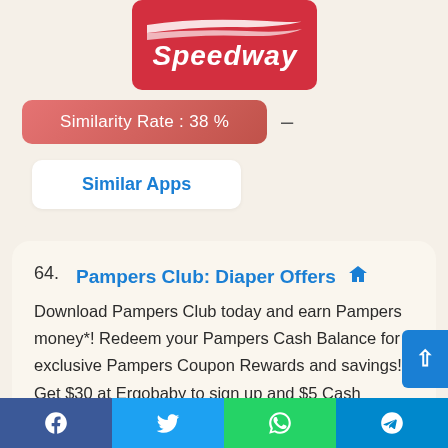[Figure (logo): Speedway app logo — red rectangle with white Speedway text and speed-stripe graphic]
Similarity Rate : 38 %
Similar Apps
64. Pampers Club: Diaper Offers — Download Pampers Club today and earn Pampers money*! Redeem your Pampers Cash Balance for exclusive Pampers Coupon Rewards and savings! Get $30 at Ergobaby to sign up and $5 Cash Pampers* for the first 3